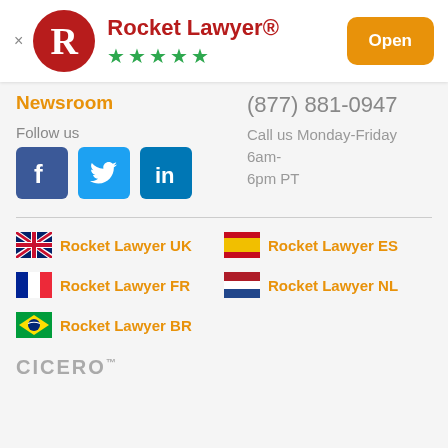[Figure (logo): Rocket Lawyer app header with red R logo, app name, five green stars, and orange Open button]
(877) 881-0947
Call us Monday-Friday 6am-6pm PT
Newsroom
Follow us
[Figure (other): Social media icons: Facebook, Twitter, LinkedIn]
🇬🇧 Rocket Lawyer UK
🇪🇸 Rocket Lawyer ES
🇫🇷 Rocket Lawyer FR
🇳🇱 Rocket Lawyer NL
🇧🇷 Rocket Lawyer BR
CICERO™